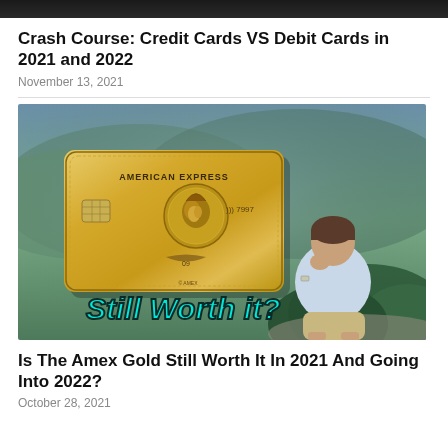[Figure (photo): Dark banner/header bar at the very top of the page]
Crash Course: Credit Cards VS Debit Cards in 2021 and 2022
November 13, 2021
[Figure (photo): American Express Gold card displayed with text 'Still Worth it?' overlaid, man sitting thoughtfully in background with mountain scenery]
Is The Amex Gold Still Worth It In 2021 And Going Into 2022?
October 28, 2021